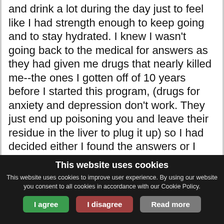and drink a lot during the day just to feel like I had strength enough to keep going and to stay hydrated. I knew I wasn't going back to the medical for answers as they had given me drugs that nearly killed me--the ones I gotten off of 10 years before I started this program, (drugs for anxiety and depression don't work. They just end up poisoning you and leave their residue in the liver to plug it up) so I had decided either I found the answers or I was just going to lie down and die eventually. I knew about Dr. Richard Schulze several years before I found CZ and Doc's forum. I didn't know that killing off the paraistes was necessary to get on top of this
This website uses cookies
This website uses cookies to improve user experience. By using our website you consent to all cookies in accordance with our Cookie Policy.
I agree
I disagree
Read more